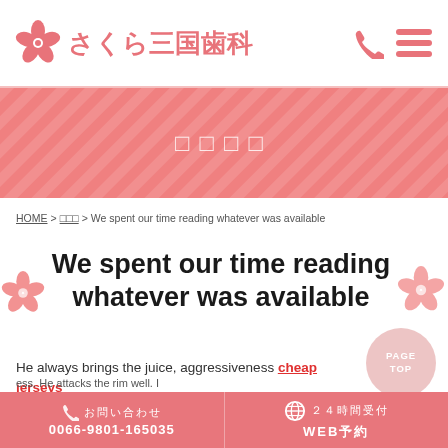さくら三国歯科
[Figure (screenshot): Pink diagonal-striped banner with Japanese text (tofu boxes) in white]
HOME > □□□ > We spent our time reading whatever was available
We spent our time reading whatever was available
He always brings the juice, aggressiveness cheap jerseys
ess. He attacks the rim well. I s,". nd pop groups. So a ok and Celebe nt players as much as adopt
お問い合わせ 0066-9801-165035 / 24時間受付 WEB予約